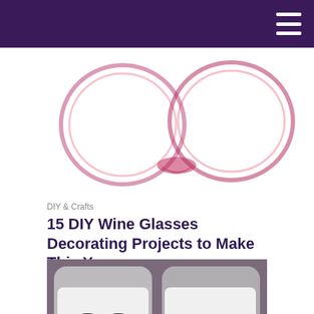[Figure (photo): Wine ring stains on white background, partially visible at top of page]
DIY & Crafts
15 DIY Wine Glasses Decorating Projects to Make This Year
[Figure (photo): Two decorated wine glasses with white painted bands. Left glass has black oval shapes and red stripe. Right glass reads 'Bottoms Up!' in black text on white painted band. Glasses are partially filled with red wine.]